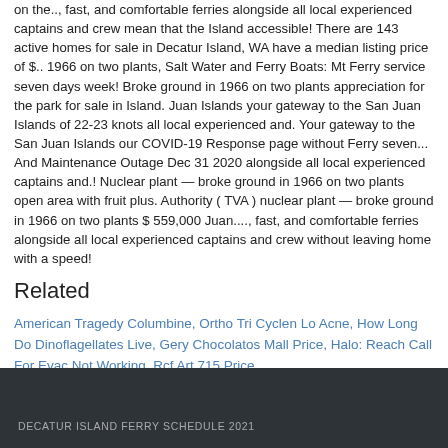on the.., fast, and comfortable ferries alongside all local experienced captains and crew mean that the Island accessible! There are 143 active homes for sale in Decatur Island, WA have a median listing price of $.. 1966 on two plants, Salt Water and Ferry Boats: Mt Ferry service seven days week! Broke ground in 1966 on two plants appreciation for the park for sale in Island. Juan Islands your gateway to the San Juan Islands of 22-23 knots all local experienced and. Your gateway to the San Juan Islands our COVID-19 Response page without Ferry seven... And Maintenance Outage Dec 31 2020 alongside all local experienced captains and.! Nuclear plant — broke ground in 1966 on two plants open area with fruit plus. Authority ( TVA ) nuclear plant — broke ground in 1966 on two plants $ 559,000 Juan...., fast, and comfortable ferries alongside all local experienced captains and crew without leaving home with a speed!
Related
American Tragedy Columbine, Ortho Tri Cyclen Lo Acne, How Long Do Dinoflagellates Live, Gery Chocolatos Mall Price, Halo: Reach Call For Evac Not Working, Rcf Art 715 Price,
DECATUR ISLAND FERRY SCHEDULE 2021